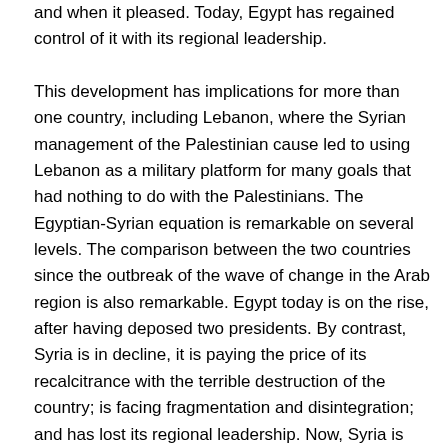and when it pleased. Today, Egypt has regained control of it with its regional leadership.

This development has implications for more than one country, including Lebanon, where the Syrian management of the Palestinian cause led to using Lebanon as a military platform for many goals that had nothing to do with the Palestinians. The Egyptian-Syrian equation is remarkable on several levels. The comparison between the two countries since the outbreak of the wave of change in the Arab region is also remarkable. Egypt today is on the rise, after having deposed two presidents. By contrast, Syria is in decline, it is paying the price of its recalcitrance with the terrible destruction of the country; is facing fragmentation and disintegration; and has lost its regional leadership. Now, Syria is the focus of “counter-terrorism,” with terrorism being perpetrated by both the regime and the imported opposition equally. Damascus is calling for internationalization as an opportunity for its rehabilitation. It